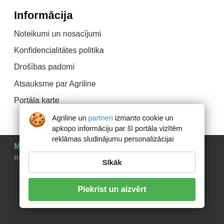Informācija
Noteikumi un nosacījumi
Konfidencialitātes politika
Drošības padomi
Atsauksme par Agriline
Portāla karte
Mēs piedāvājam
Agriline un partneri izmanto cookie un apkopo informāciju par šī portāla vizītēm reklāmas sludinājumu personalizācijai
Sīkāk
Piekrist un aizvērt